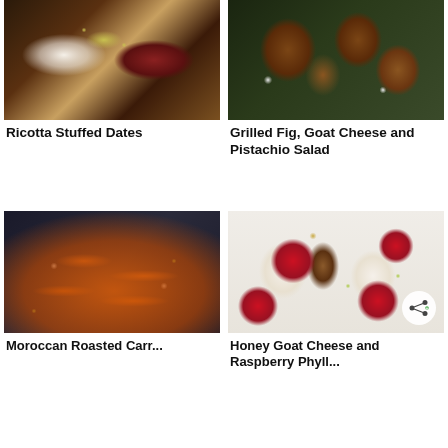[Figure (photo): Ricotta stuffed dates with chopped pistachios on a dark surface with herbs]
Ricotta Stuffed Dates
[Figure (photo): Grilled fig, goat cheese and pistachio salad in a dark skillet with arugula]
Grilled Fig, Goat Cheese and Pistachio Salad
[Figure (photo): Moroccan roasted carrots with goat cheese and pistachios on a dark plate]
Moroccan Roasted Carrots with Goat...
[Figure (photo): Honey goat cheese and raspberry phyllo cups with honey dipper on white background]
Honey Goat Cheese and Raspberry Phyll...